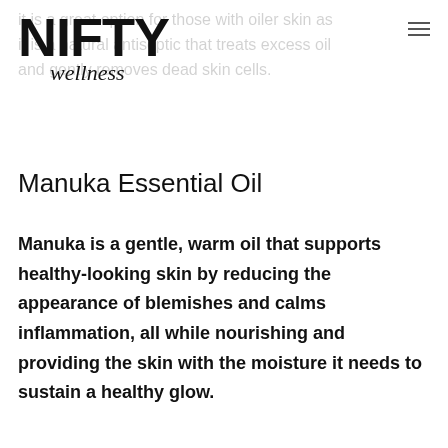it is a great option for those with oiler skin as it is a natural antiseptic that treats excess oil and gently removes dead skin cells.
[Figure (logo): NIFTY wellness logo — bold block letters spelling NIFTY with cursive wellness underneath]
Manuka Essential Oil
Manuka is a gentle, warm oil that supports healthy-looking skin by reducing the appearance of blemishes and calms inflammation, all while nourishing and providing the skin with the moisture it needs to sustain a healthy glow.